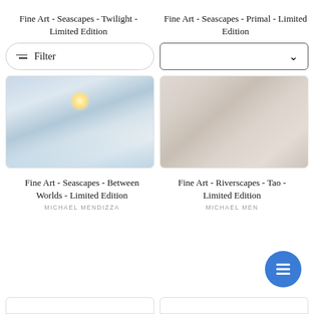Fine Art - Seascapes - Twilight - Limited Edition
Fine Art - Seascapes - Primal - Limited Edition
[Figure (screenshot): Filter button with sliders icon and dropdown sort control]
[Figure (photo): Fine art seascape photograph - Twilight - icy ocean scene with sunlight reflecting on water]
[Figure (photo): Fine art seascape photograph - Primal - close-up of smooth pale rocks with water]
Fine Art - Seascapes - Between Worlds - Limited Edition
Fine Art - Riverscapes - Tao - Limited Edition
MICHAEL MENDIZZA
MICHAEL MEN...